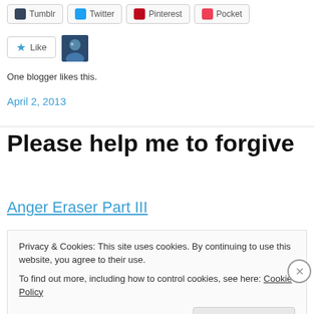[Figure (other): Social share buttons: Tumblr, Twitter, Pinterest, Pocket]
[Figure (other): Like button with star icon and user avatar thumbnail]
One blogger likes this.
April 2, 2013
Please help me to forgive
Anger Eraser Part III
Privacy & Cookies: This site uses cookies. By continuing to use this website, you agree to their use.
To find out more, including how to control cookies, see here: Cookie Policy
Close and accept